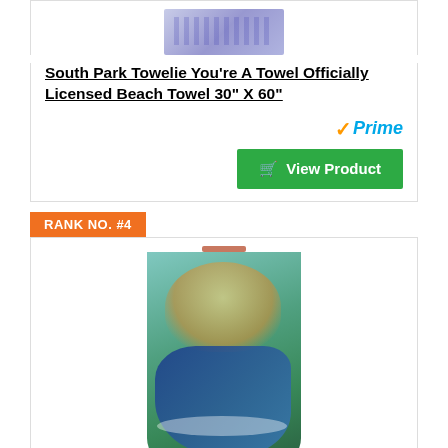[Figure (photo): Beach towel product image cropped at top]
South Park Towelie You're A Towel Officially Licensed Beach Towel 30" X 60"
[Figure (logo): Amazon Prime checkmark logo]
View Product
RANK NO. #4
[Figure (photo): Funny skeleton rides a shark in the surf beach towel product image]
Funny Skeleton Rides A Shark in The Surf